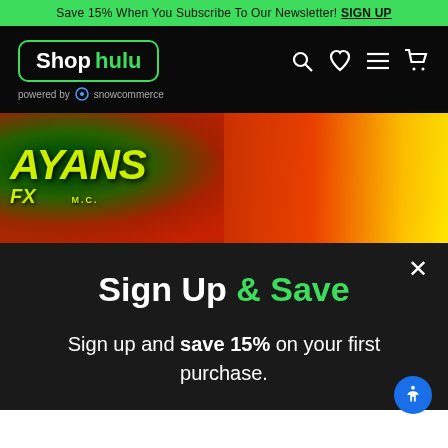Save 15% When You Subscribe To Our Newsletter! SIGN UP
[Figure (screenshot): Shop Hulu logo with green border, navigation icons (search, heart, menu, cart) on black background]
powered by snowcommerce
[Figure (photo): Mayans MC FX promotional banner with colorful psychedelic artwork]
Sign Up & Save
Sign up and save 15% on your first purchase.